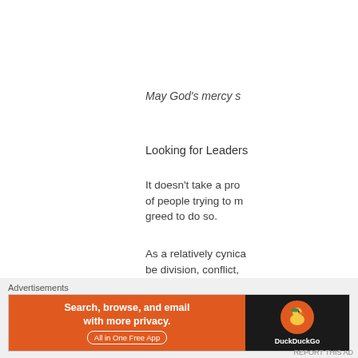May God’s mercy s…
Looking for Leaders…
It doesn’t take a pro… of people trying to m… greed to do so.
As a relatively cynica… be division, conflict,…
You all know that sa…
Advertisements
[Figure (screenshot): DuckDuckGo advertisement banner: orange left panel with text 'Search, browse, and email with more privacy. All in One Free App' and dark right panel with DuckDuckGo duck logo]